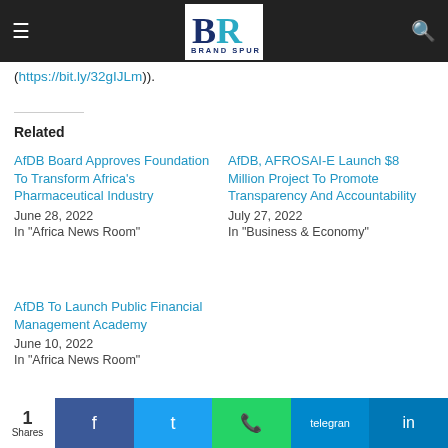Brand Spur — navigation bar with logo
(https://bit.ly/32gIJLm)).
Related
AfDB Board Approves Foundation To Transform Africa's Pharmaceutical Industry
June 28, 2022
In "Africa News Room"
AfDB, AFROSAI-E Launch $8 Million Project To Promote Transparency And Accountability
July 27, 2022
In "Business & Economy"
AfDB To Launch Public Financial Management Academy
June 10, 2022
In "Africa News Room"
1 Shares | Share on Facebook | Share on Twitter | Share on WhatsApp | Share on Telegram | Share on LinkedIn